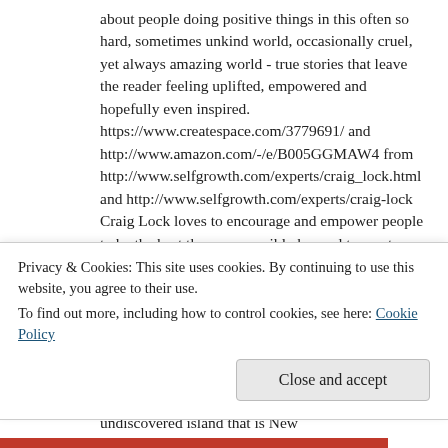about people doing positive things in this often so hard, sometimes unkind world, occasionally cruel, yet always amazing world - true stories that leave the reader feeling uplifted, empowered and hopefully even inspired. https://www.createspace.com/3779691/ and http://www.amazon.com/-/e/B005GGMAW4 from http://www.selfgrowth.com/experts/craig_lock.html and http://www.selfgrowth.com/experts/craig-lock Craig Lock loves to encourage and empower people to be the best they can possibly be, and to create what they want in life. Craig has learnt plenty from the "school of life" (still "battered and bruised") and also from a few "hard knocks on the head". He is an extensive world traveller (on a "shoestring budget") and failed professional emigrater who has spent most of his life's savings on airfares. He is still sliding down the razor blade of life on the beautiful undiscovered island that is New...
Privacy & Cookies: This site uses cookies. By continuing to use this website, you agree to their use.
To find out more, including how to control cookies, see here: Cookie Policy
Close and accept